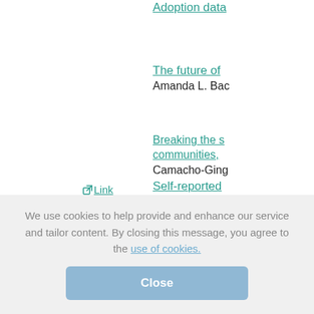Adoption data
The future of
Amanda L. Bac
Link
Self-reported
Immigration, r
Warheit
Toward a soci
and Frank A. B
Breaking the s
communities,
Camacho-Ging
Handbook of a
We use cookies to help provide and enhance our service and tailor content. By closing this message, you agree to the use of cookies.
Close